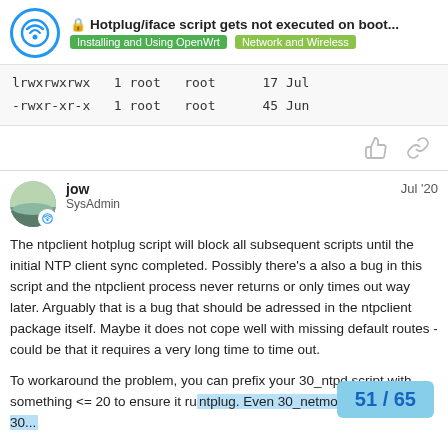Hotplug/iface script gets not executed on boot... | Installing and Using OpenWrt | Network and Wireless
lrwxrwxrwx  1 root  root  17 Jul
-rwxr-xr-x  1 root  root  45 Jun
jow  Jul '20
SysAdmin
The ntpclient hotplug script will block all subsequent scripts until the initial NTP client sync completed. Possibly there's a also a bug in this script and the ntpclient process never returns or only times out way later. Arguably that is a bug that should be adressed in the ntpclient package itself. Maybe it does not cope well with missing default routes - could be that it requires a very long time to time out.

To workaround the problem, you can prefix your 30_ntpd script with something <= 20 to ensure it runs before ntplug. Even 30_netmon will do since 30...
51 / 65